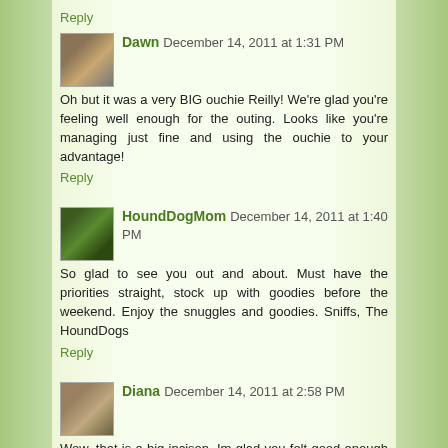Reply
Dawn  December 14, 2011 at 1:31 PM
Oh but it was a very BIG ouchie Reilly! We're glad you're feeling well enough for the outing. Looks like you're managing just fine and using the ouchie to your advantage!
Reply
HoundDogMom  December 14, 2011 at 1:40 PM
So glad to see you out and about. Must have the priorities straight, stock up with goodies before the weekend. Enjoy the snuggles and goodies. Sniffs, The HoundDogs
Reply
Diana  December 14, 2011 at 2:58 PM
Wow, that is a big incison. Im glad you felt good enough to go shopping. Looks like you got some good stuff.